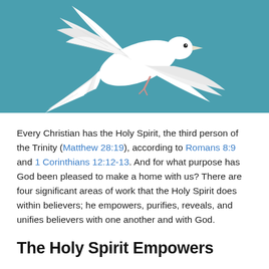[Figure (illustration): White dove in flight against a teal/blue background, wings spread, facing right with tail feathers fanned out]
Every Christian has the Holy Spirit, the third person of the Trinity (Matthew 28:19), according to Romans 8:9 and 1 Corinthians 12:12-13. And for what purpose has God been pleased to make a home with us? There are four significant areas of work that the Holy Spirit does within believers; he empowers, purifies, reveals, and unifies believers with one another and with God.
The Holy Spirit Empowers